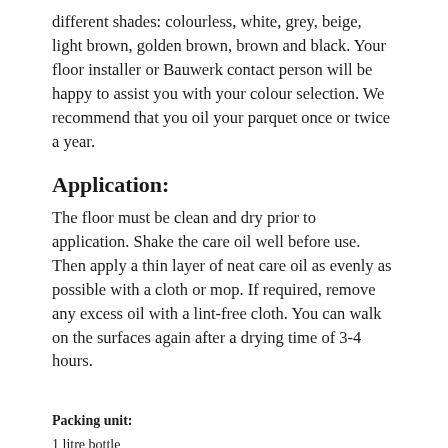different shades: colourless, white, grey, beige, light brown, golden brown, brown and black. Your floor installer or Bauwerk contact person will be happy to assist you with your colour selection. We recommend that you oil your parquet once or twice a year.
Application:
The floor must be clean and dry prior to application. Shake the care oil well before use. Then apply a thin layer of neat care oil as evenly as possible with a cloth or mop. If required, remove any excess oil with a lint-free cloth. You can walk on the surfaces again after a drying time of 3-4 hours.
Packing unit:
1 litre bottle
Technical data: